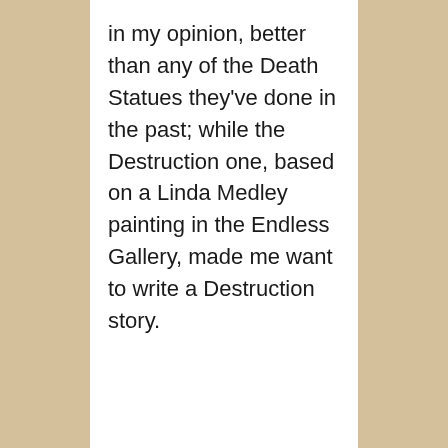in my opinion, better than any of the Death Statues they've done in the past; while the Destruction one, based on a Linda Medley painting in the Endless Gallery, made me want to write a Destruction story.